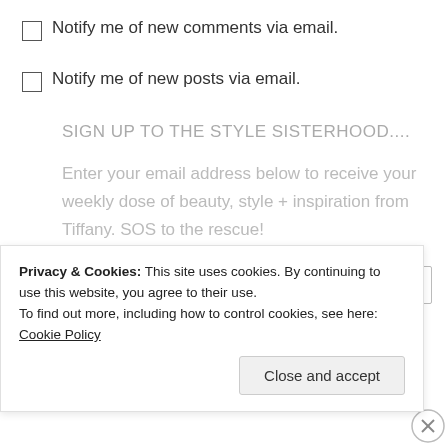Notify me of new comments via email.
Notify me of new posts via email.
SIGN UP TO THE STYLE SISTERHOOD....
Enter your email address below to receive your weekly dose of beauty, style + inspiration from Tiffany. SOS to the rescue!
Email Address
Privacy & Cookies: This site uses cookies. By continuing to use this website, you agree to their use.
To find out more, including how to control cookies, see here: Cookie Policy
Close and accept